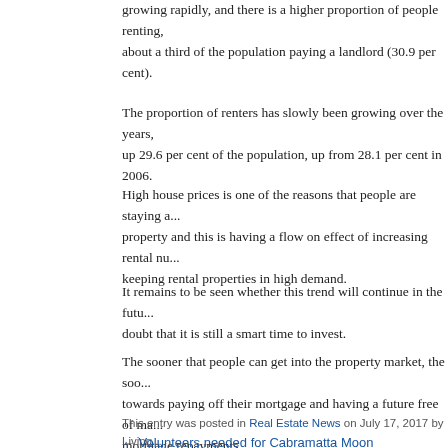growing rapidly, and there is a higher proportion of people renting, about a third of the population paying a landlord (30.9 per cent).
The proportion of renters has slowly been growing over the years, up 29.6 per cent of the population, up from 28.1 per cent in 2006.
High house prices is one of the reasons that people are staying away from property and this is having a flow on effect of increasing rental numbers and keeping rental properties in high demand.
It remains to be seen whether this trend will continue in the future, but no doubt that it is still a smart time to invest.
The sooner that people can get into the property market, the sooner they work towards paying off their mortgage and having a future free of mortgage repayments.
This entry was posted in Real Estate News on July 17, 2017 by Living
← Volunteers needed for Cabramatta Moon Festival   Medium density h...